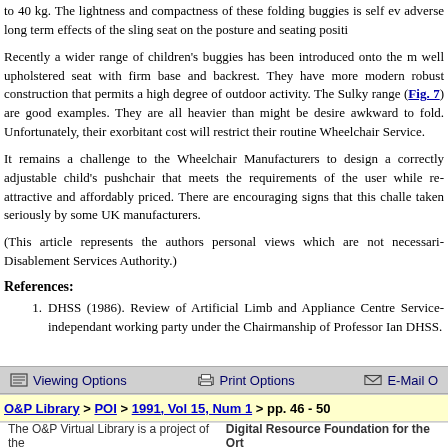to 40 kg. The lightness and compactness of these folding buggies is self ev adverse long term effects of the sling seat on the posture and seating positi
Recently a wider range of children's buggies has been introduced onto the well upholstered seat with firm base and backrest. They have more modern robust construction that permits a high degree of outdoor activity. The Sulky range (Fig. 7) are good examples. They are all heavier than might be desired awkward to fold. Unfortunately, their exorbitant cost will restrict their routine Wheelchair Service.
It remains a challenge to the Wheelchair Manufacturers to design a correctly adjustable child's pushchair that meets the requirements of the user while re attractive and affordably priced. There are encouraging signs that this challe taken seriously by some UK manufacturers.
(This article represents the authors personal views which are not necessarily Disablement Services Authority.)
References:
DHSS (1986). Review of Artificial Limb and Appliance Centre Service independant working party under the Chairmanship of Professor Ian DHSS.
Viewing Options   Print Options   E-Mail O
O&P Library > POI > 1991, Vol 15, Num 1 > pp. 46 - 50
The O&P Virtual Library is a project of the Digital Resource Foundation for the Ort